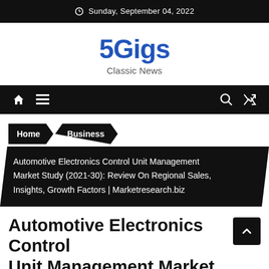Sunday, September 04, 2022
5Gigs
Classic News
Home  Business  Automotive Electronics Control Unit Management Market Study (2021-30): Review On Regional Sales, Insights, Growth Factors | Marketresearch.biz
Automotive Electronics Control Unit Management Market Study